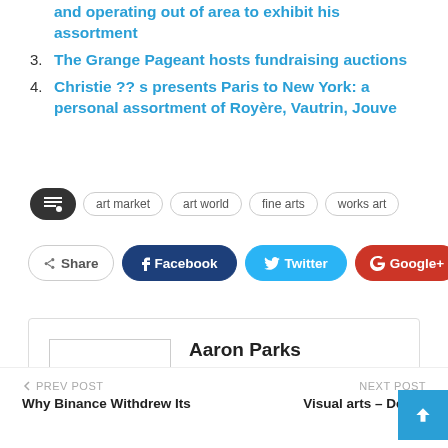and operating out of area to exhibit his assortment
3. The Grange Pageant hosts fundraising auctions
4. Christie ?? s presents Paris to New York: a personal assortment of Royère, Vautrin, Jouve
art market  art world  fine arts  works art
Share  Facebook  Twitter  Google+
Aaron Parks
PREV POST
Why Binance Withdrew Its
NEXT POST
Visual arts – Dec. 1